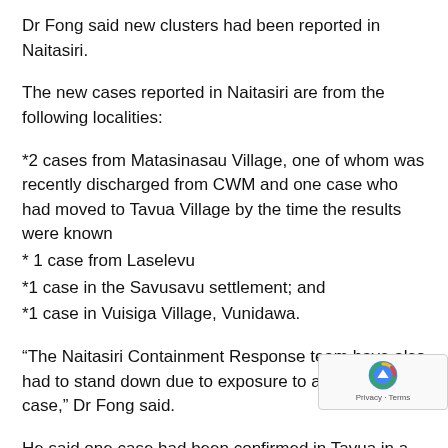Dr Fong said new clusters had been reported in Naitasiri.
The new cases reported in Naitasiri are from the following localities:
*2 cases from Matasinasau Village, one of whom was recently discharged from CWM and one case who had moved to Tavua Village by the time the results were known
* 1 case from Laselevu
*1 case in the Savusavu settlement; and
*1 case in Vuisiga Village, Vunidawa.
“The Naitasiri Containment Response team have also had to stand down due to exposure to a positive case,” Dr Fong said.
He said one case had been confirmed in Tavua in a tra...